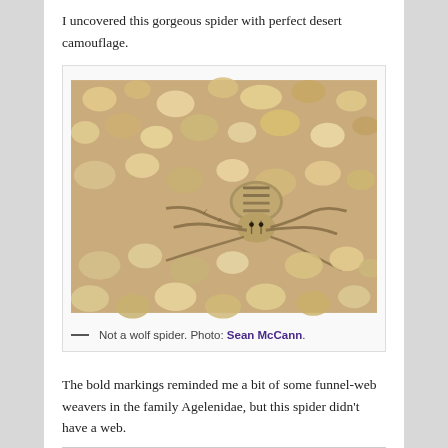I uncovered this gorgeous spider with perfect desert camouflage.
[Figure (photo): Close-up photograph of a spider with bold striped markings and desert camouflage coloring, resting on sandy gravel ground.]
— Not a wolf spider. Photo: Sean McCann.
The bold markings reminded me a bit of some funnel-web weavers in the family Agelenidae, but this spider didn't have a web.